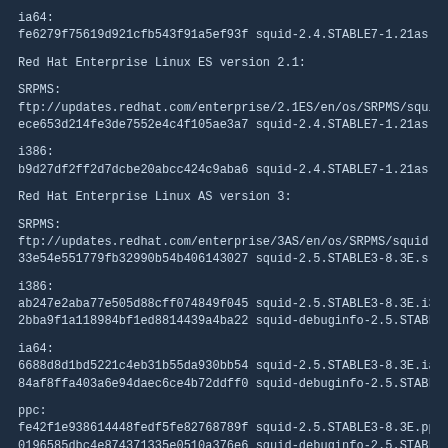ia64:
fe6279f75619d921cfb543f91a5ef93f  squid-2.4.STABLE7-1.21as.11.ia64.rpm
Red Hat Enterprise Linux ES version 2.1:
SRPMS:
ftp://updates.redhat.com/enterprise/2.1ES/en/os/SRPMS/squid-2.4.STABLE7-1
ece653d214fe3de7552e4c4f105ae3a7  squid-2.4.STABLE7-1.21as.11.src.rpm
i386:
b9d27df2ff2d7dcbe20abcc424c9aba6  squid-2.4.STABLE7-1.21as.11.i386.rpm
Red Hat Enterprise Linux AS version 3:
SRPMS:
ftp://updates.redhat.com/enterprise/3AS/en/os/SRPMS/squid-2.5.STABLE3-8.3
33e54e551779fb32990b54b406143027  squid-2.5.STABLE3-8.3E.src.rpm
i386:
ab247e2aba77e505d88cff074849f045  squid-2.5.STABLE3-8.3E.i386.rpm
2bba9f1a118984bf1ed8814439a4ba22  squid-debuginfo-2.5.STABLE3-8.3E.i3
ia64:
6688d8d1bd5221c4eb31b55da930bb54  squid-2.5.STABLE3-8.3E.ia64.rpm
84af8ffa403a6e94daec6ce4b72ddff0  squid-debuginfo-2.5.STABLE3-8.3E.ia64
ppc:
fe42f1e938614448fedf5fe82768789f  squid-2.5.STABLE3-8.3E.ppc.rpm
0196585dbc4e874371335e0510a376e6  squid-debuginfo-2.5.STABLE3-8.3E.p
s390:
1b5d86c9df50e17f98e1c4bf436cc66b  squid-2.5.STABLE3-8.3E.s390.rpm